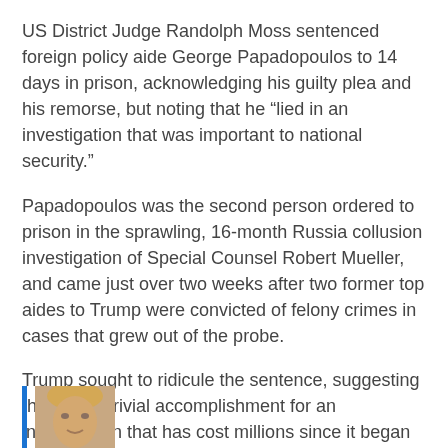US District Judge Randolph Moss sentenced foreign policy aide George Papadopoulos to 14 days in prison, acknowledging his guilty plea and his remorse, but noting that he “lied in an investigation that was important to national security.”
Papadopoulos was the second person ordered to prison in the sprawling, 16-month Russia collusion investigation of Special Counsel Robert Mueller, and came just over two weeks after two former top aides to Trump were convicted of felony crimes in cases that grew out of the probe.
Trump sought to ridicule the sentence, suggesting that it was trivial accomplishment for an investigation that has cost millions since it began in May 2017 — while ignoring the 35 indictments, five guilty pleas and one trial conviction Mueller has racked up so far.
[Figure (photo): Partial photo of a person's face at the bottom of the page, with a blue vertical bar to the left.]